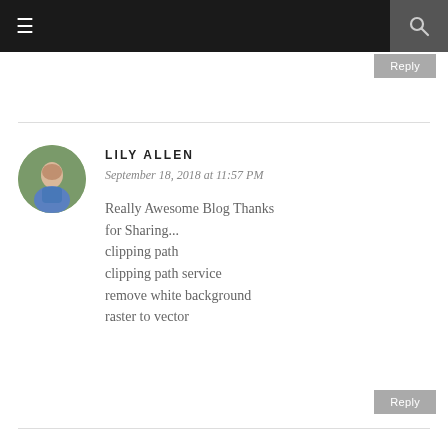≡  [search icon]
Reply
LILY ALLEN
September 18, 2018 at 11:57 PM
Really Awesome Blog Thanks for Sharing...
clipping path
clipping path service
remove white background
raster to vector
Reply